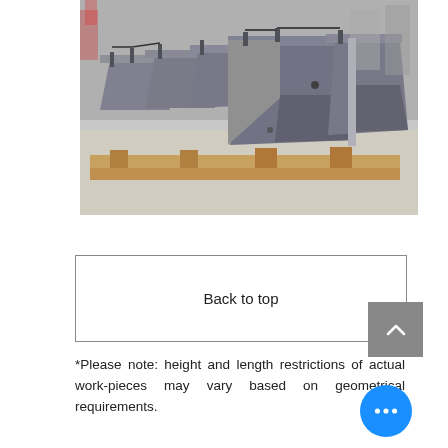[Figure (photo): Industrial metal bracket/hopper assemblies (gray sheet metal, triangular/box shaped) lined up on wooden pallets on a factory floor]
Back to top
*Please note: height and length restrictions of actual work-pieces may vary based on geometrical requirements.